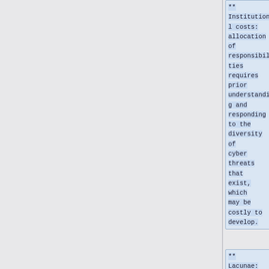** Institutional costs: allocation of responsibilities requires prior understanding and responding to the diversity of cyber threats that exist, which may be costly to develop.
** Lacunae: ...